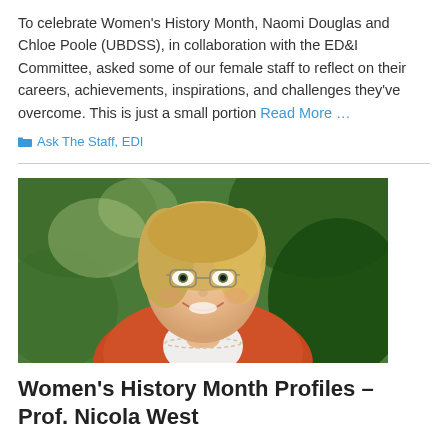To celebrate Women's History Month, Naomi Douglas and Chloe Poole (UBDSS), in collaboration with the ED&I Committee, asked some of our female staff to reflect on their careers, achievements, inspirations, and challenges they've overcome. This is just a small portion Read More …
Ask The Staff, EDI
[Figure (photo): Portrait photo of a smiling middle-aged woman with blonde hair, wearing glasses and an orange/red cardigan with a pearl necklace, photographed outdoors with green foliage in the background.]
Women's History Month Profiles – Prof. Nicola West